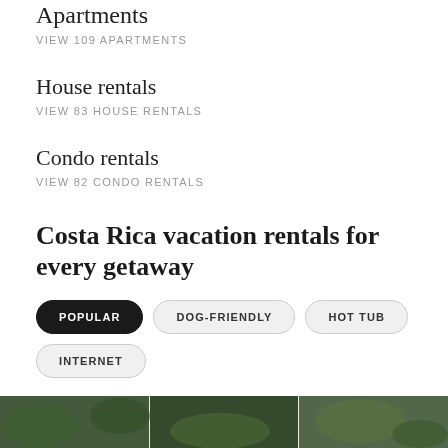Apartments
VIEW 109 APARTMENTS
House rentals
VIEW 83 HOUSE RENTALS
Condo rentals
VIEW 82 CONDO RENTALS
Costa Rica vacation rentals for every getaway
POPULAR
DOG-FRIENDLY
HOT TUB
INTERNET
[Figure (photo): Photo strip of Costa Rica vacation rental properties at the bottom of the page]